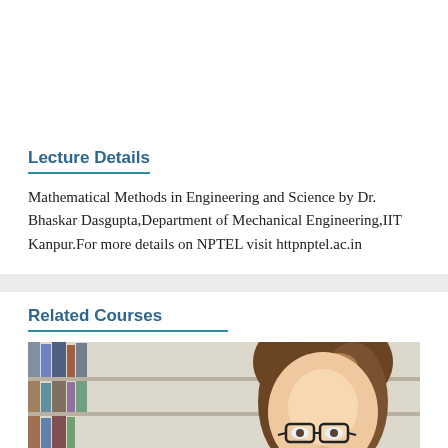Lecture Details
Mathematical Methods in Engineering and Science by Dr. Bhaskar Dasgupta,Department of Mechanical Engineering,IIT Kanpur.For more details on NPTEL visit httpnptel.ac.in
Related Courses
[Figure (photo): A smiling woman with brown hair and glasses in front of bookshelves, partially visible second image of bookshelves beside it]